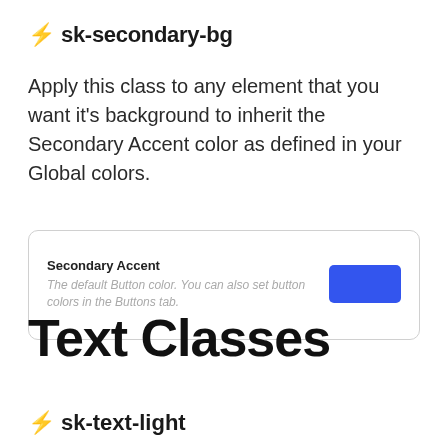⚡ sk-secondary-bg
Apply this class to any element that you want it's background to inherit the Secondary Accent color as defined in your Global colors.
[Figure (screenshot): UI settings panel showing 'Secondary Accent' label with italic description 'The default Button color. You can also set button colors in the Buttons tab.' and a blue color swatch on the right.]
Text Classes
⚡ sk-text-light